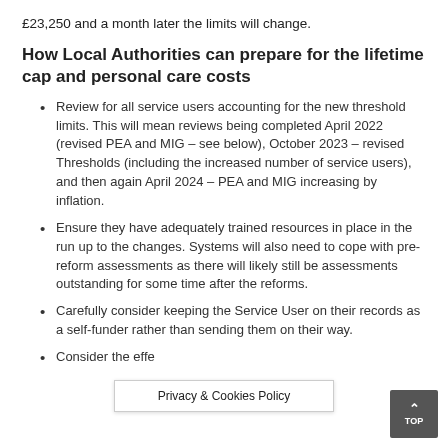£23,250 and a month later the limits will change.
How Local Authorities can prepare for the lifetime cap and personal care costs
Review for all service users accounting for the new threshold limits. This will mean reviews being completed April 2022 (revised PEA and MIG – see below), October 2023 – revised Thresholds (including the increased number of service users), and then again April 2024 – PEA and MIG increasing by inflation.
Ensure they have adequately trained resources in place in the run up to the changes. Systems will also need to cope with pre-reform assessments as there will likely still be assessments outstanding for some time after the reforms.
Carefully consider keeping the Service User on their records as a self-funder rather than sending them on their way.
Consider the effe...service...